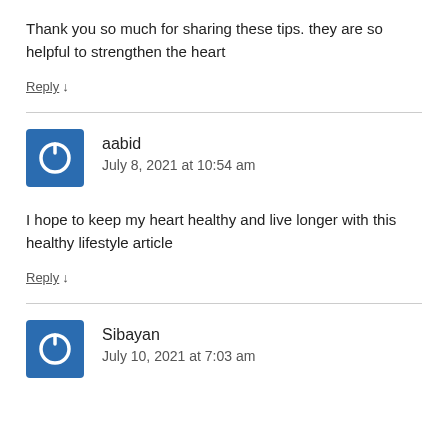Thank you so much for sharing these tips. they are so helpful to strengthen the heart
Reply ↓
aabid
July 8, 2021 at 10:54 am
I hope to keep my heart healthy and live longer with this healthy lifestyle article
Reply ↓
Sibayan
July 10, 2021 at 7:03 am